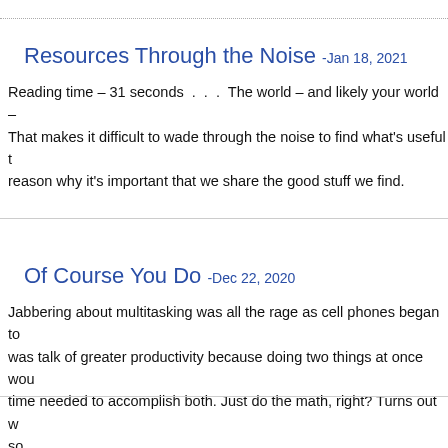Resources Through the Noise -Jan 18, 2021
Reading time – 31 seconds  .  .  . The world – and likely your world – That makes it difficult to wade through the noise to find what's useful reason why it's important that we share the good stuff we find.
Of Course You Do -Dec 22, 2020
Jabbering about multitasking was all the rage as cell phones began to was talk of greater productivity because doing two things at once wou time needed to accomplish both. Just do the math, right? Turns out w so,